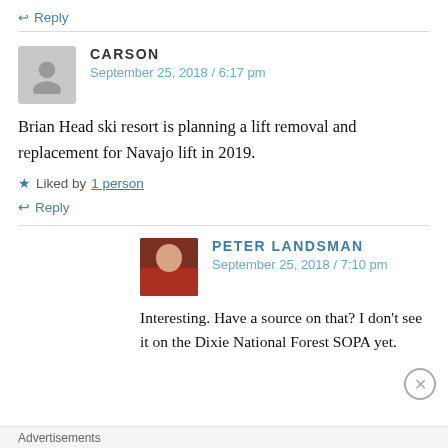↩ Reply
CARSON
September 25, 2018 / 6:17 pm
Brian Head ski resort is planning a lift removal and replacement for Navajo lift in 2019.
★ Liked by 1 person
↩ Reply
PETER LANDSMAN
September 25, 2018 / 7:10 pm
Interesting. Have a source on that? I don't see it on the Dixie National Forest SOPA yet.
Advertisements